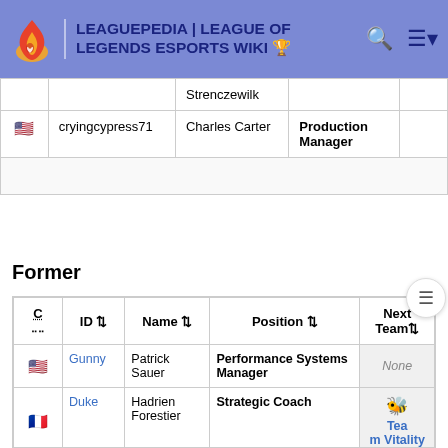LEAGUEPEDIA | LEAGUE OF LEGENDS ESPORTS WIKI
| C | ID | Name | Position | Next Team |
| --- | --- | --- | --- | --- |
|  |  | Strenczewilk |  |  |
| 🇺🇸 | cryingcypress71 | Charles Carter | Production Manager |  |
Former
| C | ID | Name | Position | Next Team |
| --- | --- | --- | --- | --- |
| 🇺🇸 | Gunny | Patrick Sauer | Performance Systems Manager | None |
| 🇫🇷 | Duke | Hadrien Forestier | Strategic Coach | Team Vitality |
| 🇩🇪 | Feiron42 | Till Werdermann | General Manager | MAD Lions |
| 🇬🇧 | Stress | James O'Leary | Social Media Manager | MAD Lions |